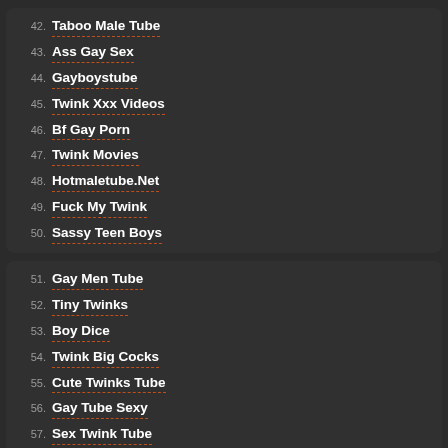42. Taboo Male Tube
43. Ass Gay Sex
44. Gayboystube
45. Twink Xxx Videos
46. Bf Gay Porn
47. Twink Movies
48. Hotmaletube.Net
49. Fuck My Twink
50. Sassy Teen Boys
51. Gay Men Tube
52. Tiny Twinks
53. Boy Dice
54. Twink Big Cocks
55. Cute Twinks Tube
56. Gay Tube Sexy
57. Sex Twink Tube
58. Hot Gay Porn
59. Gay Male Tube
60. Twink Teen
61. Twink Porn